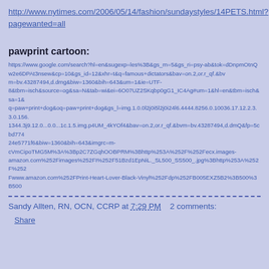http://www.nytimes.com/2006/05/14/fashion/sundaystyles/14PETS.html?pagewanted=all
pawprint cartoon:
https://www.google.com/search?hl=en&sugexp=les%3B&gs_rn=5&gs_ri=psy-ab&tok=dDnpmOtnQw2e6DPAt3nsew&cp=10&gs_id=12&xhr=t&q=famous+dictators&bav=on.2,or.r_qf.&bvm=bv.43287494,d.dmg&biw=1360&bih=643&um=1&ie=UTF-8&tbm=isch&source=og&sa=N&tab=wi&ei=6O07UZ2SKqbp0gG1_IC4Ag#um=1&hl=en&tbm=isch&sa=1&q=paw+print+dog&oq=paw+print+dog&gs_l=img.1.0.0l2j0i5l2j0i24l6.4444.8256.0.10036.17.12.2.3.3.0.156.1344.3j9.12.0...0.0...1c.1.5.img.p4UM_4kYOf4&bav=on.2,or.r_qf.&bvm=bv.43287494,d.dmQ&fp=5cbd77424e5771f6&biw=1360&bih=643&imgrc=m-cVmCipoTMG5M%3A%3Bp2C7ZGqhOOBPRM%3Bhttp%253A%252F%252Fecx.images-amazon.com%252Fimages%252FI%252F51Bzd1EpNiL._SL500_SS500_.jpg%3Bhttp%253A%252F%252Fwww.amazon.com%252FPrint-Heart-Lover-Black-Vinyl%252Fdp%252FB005EXZ5B2%3B500%3B500
Sandy Allten, RN, OCN, CCRP at 7:29 PM    2 comments:
Share